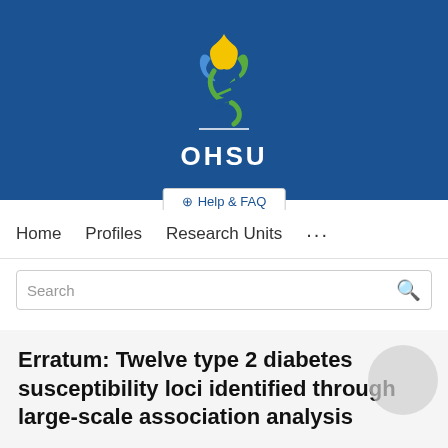[Figure (logo): OHSU (Oregon Health & Science University) logo with DNA helix and flame motif on blue background, with 'OHSU' text in white below]
⊕ Help & FAQ
Home   Profiles   Research Units   ...
Search
Erratum: Twelve type 2 diabetes susceptibility loci identified through large-scale association analysis